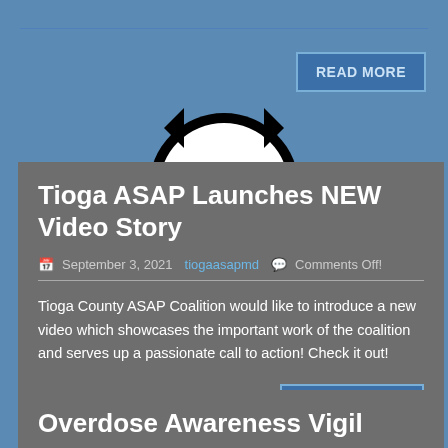[Figure (logo): Tioga County ASAP Coalition logo - black circular badge with text, top section partially visible]
Tioga ASAP Launches NEW Video Story
September 3, 2021   [author]   Comments Off!
Tioga County ASAP Coalition would like to introduce a new video which showcases the important work of the coalition and serves up a passionate call to action! Check it out!
READ MORE
[Figure (logo): Tioga County prevention coalition logo partially visible - ENTION C text visible]
Overdose Awareness Vigil
August 3, 2021   [author]   Comments Off!